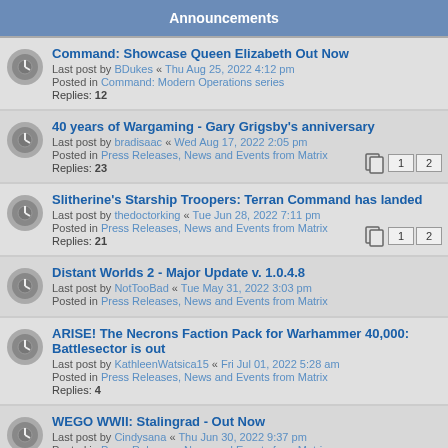Announcements
Command: Showcase Queen Elizabeth Out Now
Last post by BDukes « Thu Aug 25, 2022 4:12 pm
Posted in Command: Modern Operations series
Replies: 12
40 years of Wargaming - Gary Grigsby's anniversary
Last post by bradisaac « Wed Aug 17, 2022 2:05 pm
Posted in Press Releases, News and Events from Matrix
Replies: 23
Slitherine's Starship Troopers: Terran Command has landed
Last post by thedoctorking « Tue Jun 28, 2022 7:11 pm
Posted in Press Releases, News and Events from Matrix
Replies: 21
Distant Worlds 2 - Major Update v. 1.0.4.8
Last post by NotTooBad « Tue May 31, 2022 3:03 pm
Posted in Press Releases, News and Events from Matrix
ARISE! The Necrons Faction Pack for Warhammer 40,000: Battlesector is out
Last post by KathleenWatsica15 « Fri Jul 01, 2022 5:28 am
Posted in Press Releases, News and Events from Matrix
Replies: 4
WEGO WWII: Stalingrad - Out Now
Last post by Cindysana « Thu Jun 30, 2022 9:37 pm
Posted in Press Releases, News and Events from Matrix
Replies: 4